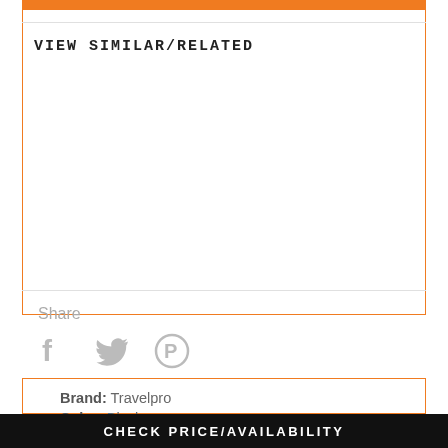VIEW SIMILAR/RELATED
Share
[Figure (illustration): Social media icons: Facebook (f), Twitter (bird), Pinterest (P) in light gray]
Brand: Travelpro
Color: Black
Features:
CHECK PRICE/AVAILABILITY